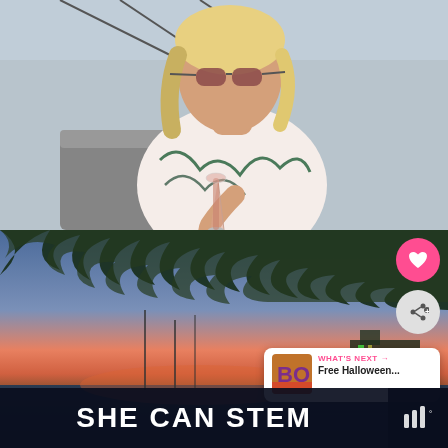[Figure (photo): Blonde woman wearing sunglasses and a floral/patterned top, holding a pink drink in a champagne flute, seated in an outdoor or rooftop setting with a grey sky and structure in the background.]
[Figure (photo): Evening/sunset landscape photo showing sailboat masts silhouetted against a pink and blue sky, with green tree leaves overhanging at the top.]
WHAT'S NEXT →
Free Halloween...
SHE CAN STEM